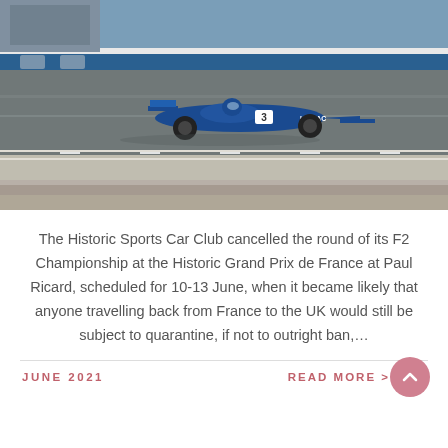[Figure (photo): A blue Formula 2 racing car numbered 3 with 'UNIVAC' branding speeding along a race track at Paul Ricard circuit. Motion blur visible. Track barriers and grandstands in background.]
The Historic Sports Car Club cancelled the round of its F2 Championship at the Historic Grand Prix de France at Paul Ricard, scheduled for 10-13 June, when it became likely that anyone travelling back from France to the UK would still be subject to quarantine, if not to outright ban,...
JUNE 2021   READ MORE >